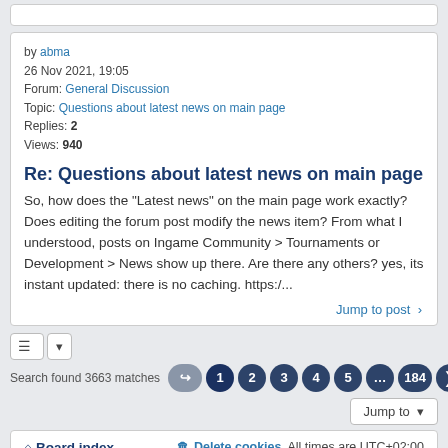by abma
26 Nov 2021, 19:05
Forum: General Discussion
Topic: Questions about latest news on main page
Replies: 2
Views: 940
Re: Questions about latest news on main page
So, how does the "Latest news" on the main page work exactly? Does editing the forum post modify the news item? From what I understood, posts on Ingame Community > Tournaments or Development > News show up there. Are there any others? yes, its instant updated: there is no caching. https:/...
Jump to post ›
Search found 3663 matches
Jump to
⌂ Board index
Delete cookies  All times are UTC+02:00
Powered by phpBB® Forum Software © phpBB Limited